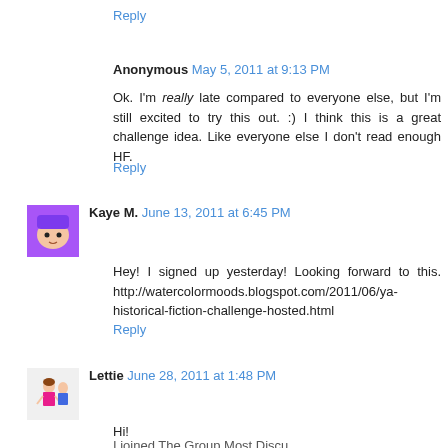Reply
Anonymous May 5, 2011 at 9:13 PM
Ok. I'm really late compared to everyone else, but I'm still excited to try this out. :) I think this is a great challenge idea. Like everyone else I don't read enough HF.
Reply
Kaye M. June 13, 2011 at 6:45 PM
Hey! I signed up yesterday! Looking forward to this. http://watercolormoods.blogspot.com/2011/06/ya-historical-fiction-challenge-hosted.html
Reply
Lettie June 28, 2011 at 1:48 PM
Hi!
I joined The Group Most Discussion... (continuing)